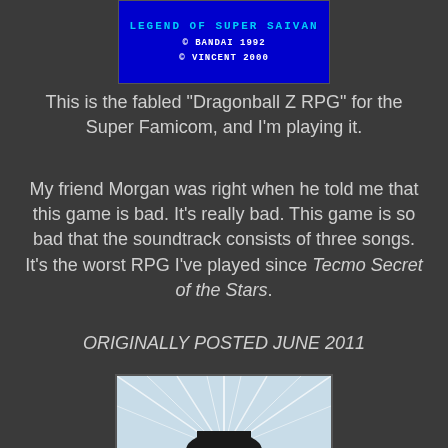[Figure (screenshot): Blue background retro game title screen showing 'LEGEND OF SUPER SAIVAN', '© BANDAI 1992', '© VINCENT 2000' in pixel/monospace font]
This is the fabled "Dragonball Z RPG" for the Super Famicom, and I'm playing it.
My friend Morgan was right when he told me that this game is bad. It's really bad. This game is so bad that the soundtrack consists of three songs. It's the worst RPG I've played since Tecmo Secret of the Stars.
ORIGINALLY POSTED JUNE 2011
[Figure (screenshot): Light blue background with radial speed lines and a dark silhouette at the bottom, anime-style action scene]